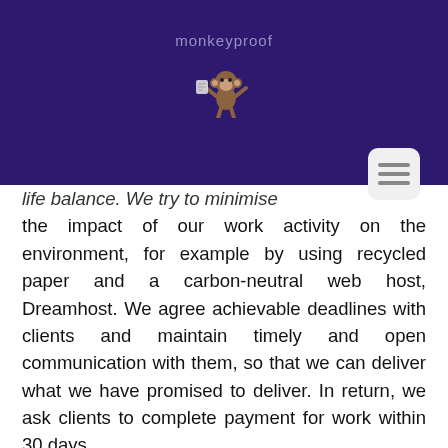[Figure (logo): Monkeyproof logo with text 'monkeyproof' and a monkey illustration on a dark purple banner background]
life balance. We try to minimise the impact of our work activity on the environment, for example by using recycled paper and a carbon-neutral web host, Dreamhost. We agree achievable deadlines with clients and maintain timely and open communication with them, so that we can deliver what we have promised to deliver. In return, we ask clients to complete payment for work within 30 days.